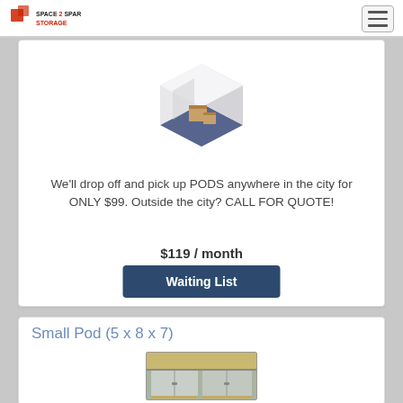Space2Spare Storage
[Figure (illustration): Isometric illustration of a storage pod/unit with boxes inside, blue floor]
We'll drop off and pick up PODS anywhere in the city for ONLY $99. Outside the city? CALL FOR QUOTE!
$119 / month
Waiting List
Small Pod (5 x 8 x 7)
[Figure (photo): Photo of white/grey storage pods/containers stacked, outdoor setting]